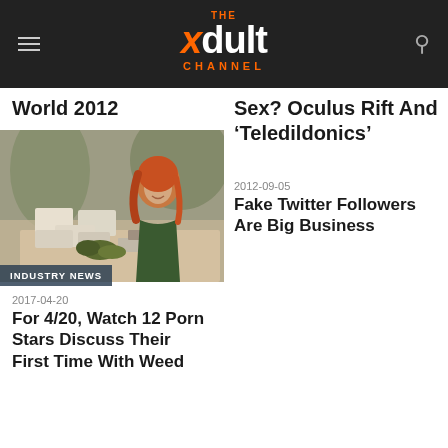THE xdult CHANNEL
World 2012
Sex? Oculus Rift And ‘Teledildonics’
[Figure (photo): Red-haired woman at a table with packages and plant material, with an INDUSTRY NEWS badge overlay]
2017-04-20
For 4/20, Watch 12 Porn Stars Discuss Their First Time With Weed
2012-09-05
Fake Twitter Followers Are Big Business